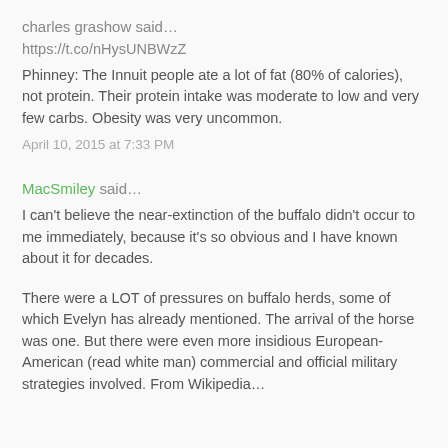charles grashow said…
https://t.co/nHysUNBWzZ
Phinney: The Innuit people ate a lot of fat (80% of calories), not protein. Their protein intake was moderate to low and very few carbs. Obesity was very uncommon.
April 10, 2015 at 7:33 PM
MacSmiley said…
I can't believe the near-extinction of the buffalo didn't occur to me immediately, because it's so obvious and I have known about it for decades.
There were a LOT of pressures on buffalo herds, some of which Evelyn has already mentioned. The arrival of the horse was one. But there were even more insidious European-American (read white man) commercial and official military strategies involved. From Wikipedia…